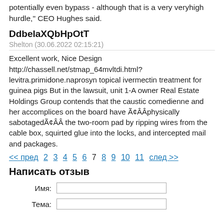potentially even bypass - although that is a very veryhigh hurdle," CEO Hughes said.
DdbelaXQbHpOtT
Shelton (30.06.2022 02:15:21)
Excellent work, Nice Design http://chassell.net/stmap_64mvltdi.html?levitra.primidone.naprosyn topical ivermectin treatment for guinea pigs But in the lawsuit, unit 1-A owner Real Estate Holdings Group contends that the caustic comedienne and her accomplices on the board have Ã¢ÂÂphysically sabotagedÃ¢ÂÂ the two-room pad by ripping wires from the cable box, squirted glue into the locks, and intercepted mail and packages.
<< пред  2  3  4  5  6  7  8  9  10  11  след >>
Написать отзыв
Имя:
Тема: